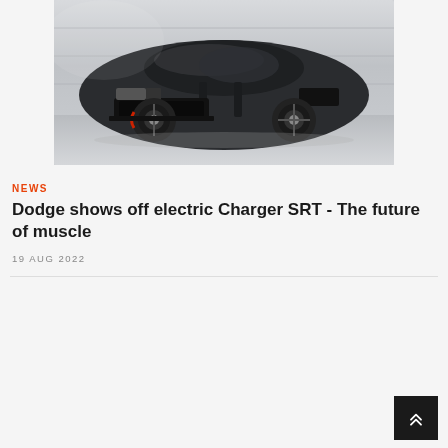[Figure (photo): Dark grey/black Dodge Charger SRT electric concept car parked in front of a garage, photographed from a front three-quarter angle]
NEWS
Dodge shows off electric Charger SRT - The future of muscle
19 AUG 2022